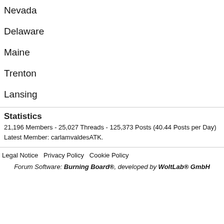Nevada
Delaware
Maine
Trenton
Lansing
Statistics
21,196 Members - 25,027 Threads - 125,373 Posts (40.44 Posts per Day)
Latest Member: carlamvaldesATK.
Legal Notice  Privacy Policy  Cookie Policy
Forum Software: Burning Board®, developed by WoltLab® GmbH